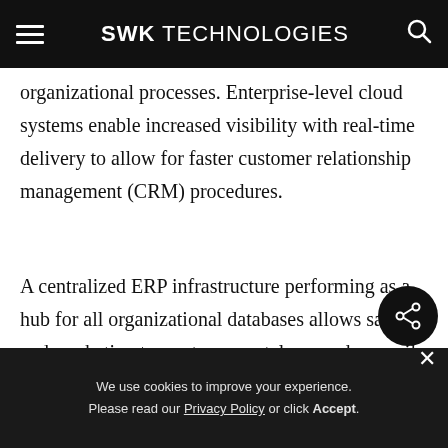SWK TECHNOLOGIES
organizational processes. Enterprise-level cloud systems enable increased visibility with real-time delivery to allow for faster customer relationship management (CRM) procedures.
A centralized ERP infrastructure performing as a hub for all organizational databases allows sales and marketing teams to accurately record, compile and manage relevant client information in a single
We use cookies to improve your experience. Please read our Privacy Policy or click Accept.